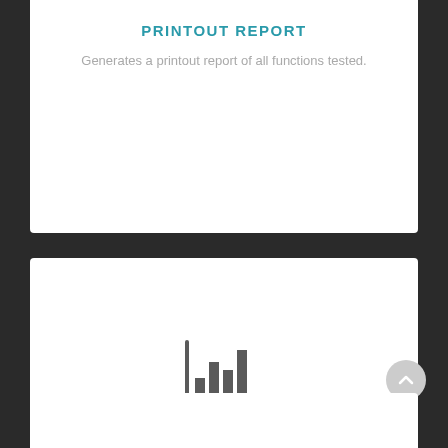PRINTOUT REPORT
Generates a printout report of all functions tested.
[Figure (illustration): Bar chart icon representing graphic software — a minimalist line drawing of a bar chart with vertical bars of varying heights on a baseline]
GRAPHIC SOFTWARE
Real-time visual readings of sensors readings, with maximum and minimum values.